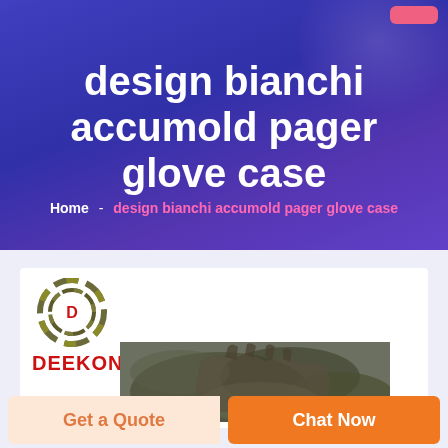design bianchi accumold pager glove case
Home - design bianchi accumold pager glove case
[Figure (logo): Deekon logo with circular target emblem and red D letter, with DEEKON text in red below]
[Figure (photo): Camouflage pager glove case product photo]
Get a Quote
Chat Now